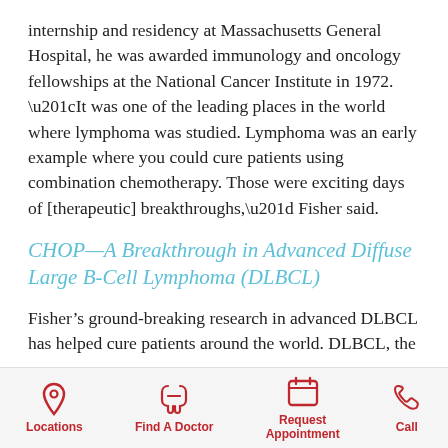internship and residency at Massachusetts General Hospital, he was awarded immunology and oncology fellowships at the National Cancer Institute in 1972. “It was one of the leading places in the world where lymphoma was studied. Lymphoma was an early example where you could cure patients using combination chemotherapy. Those were exciting days of [therapeutic] breakthroughs,” Fisher said.
CHOP—A Breakthrough in Advanced Diffuse Large B-Cell Lymphoma (DLBCL)
Fisher’s ground-breaking research in advanced DLBCL has helped cure patients around the world. DLBCL, the
Locations | Find A Doctor | Request Appointment | Call